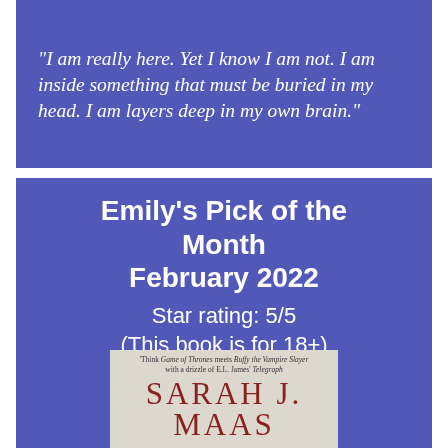"I am really here. Yet I know I am not. I am inside something that must be buried in my head. I am layers deep in my own brain."
Emily's Pick of the Month February 2022
Star rating: 5/5
(This book is for 18+)
[Figure (photo): Book cover of Sarah J. Maas with a tagline 'Think Game of Thrones meets Buffy the Vampire Slayer with a drizzle of E.L. James' Telegraph']